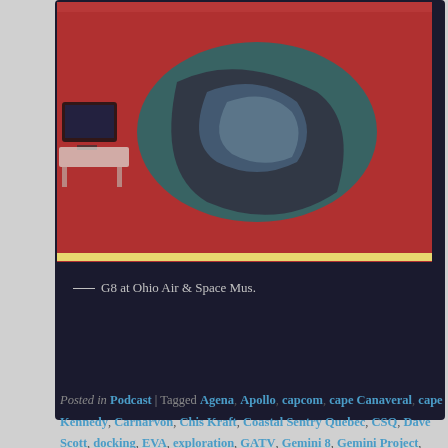[Figure (photo): A photo of what appears to be a spacecraft or aircraft component (likely Gemini capsule) on display at Ohio Air & Space Museum, with red walls and a TV in the background.]
— G8 at Ohio Air & Space Mus.
Posted in Podcast | Tagged Agena, Apollo, capcom, cape Canaveral, cape Kennedy, Carnarvon, Chis Kraft, Coastal Sentry Quebec, CSQ, Dave Scott, docking, EVA, exploration, GATV, Gemini 8, Gemini Project, Gene Kranz, Goddard, Gulfstream, Harold W. Nolan, Hawaii, HC-54, history, Houston, Hubert H. Humphrey, James Webb, Jim Lovell, John Hodge, Kranz, Leonard F. Mason, Martin, McDonnell, Melvin F. Brooks, Mission Control Center, MSC, Mueller, Naha, NASA, Neil Armstrong, nuclear emulsions, OAMS, Okinawa, rendezvous, Rescuemasters, retrorockets, Robert Gilruth, rocket, Rose Knot Victor, Seamans, space spectrophotography, stationkeeping, synoptic terrain photography, Tachikawa, Tananarive, thruster, Tom Stafford, Walter Schirra,